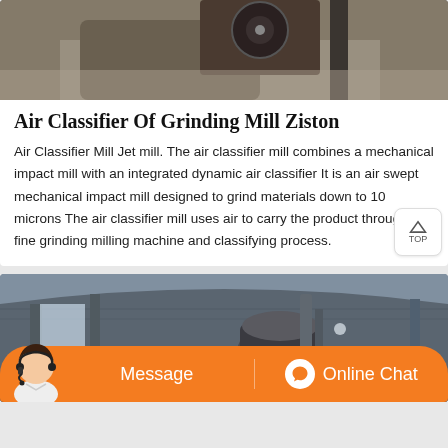[Figure (photo): Industrial grinding mill machinery photo, top portion visible]
Air Classifier Of Grinding Mill Ziston
Air Classifier Mill Jet mill. The air classifier mill combines a mechanical impact mill with an integrated dynamic air classifier It is an air swept mechanical impact mill designed to grind materials down to 10 microns The air classifier mill uses air to carry the product through the fine grinding milling machine and classifying process.
[Figure (photo): Industrial warehouse or factory interior with large grinding/milling equipment under a corrugated metal roof]